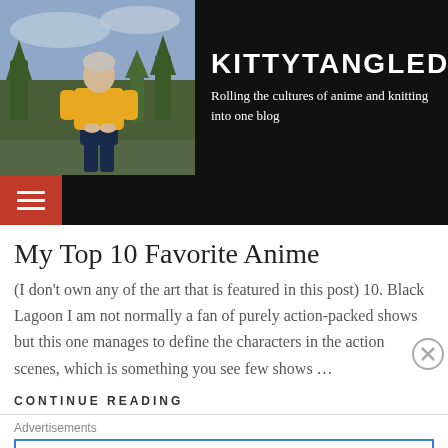[Figure (photo): Blog header with photo of a person in a yellow jacket outdoors with trees in background, next to blog title and tagline on dark background]
KITTYTANGLED
Rolling the cultures of anime and knitting into one blog
My Top 10 Favorite Anime
(I don’t own any of the art that is featured in this post) 10. Black Lagoon I am not normally a fan of purely action-packed shows but this one manages to define the characters in the action scenes, which is something you see few shows …
CONTINUE READING
Advertisements
[Figure (screenshot): Advertisement for Pressable: ThePlatform Where WordPress Works Best]